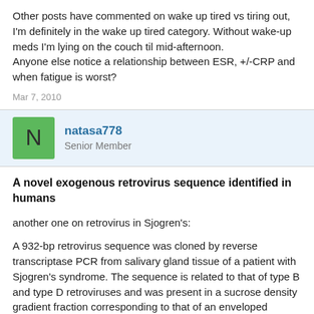Other posts have commented on wake up tired vs tiring out, I'm definitely in the wake up tired category. Without wake-up meds I'm lying on the couch til mid-afternoon.
Anyone else notice a relationship between ESR, +/-CRP and when fatigue is worst?
Mar 7, 2010
natasa778
Senior Member
A novel exogenous retrovirus sequence identified in humans
another one on retrovirus in Sjogren's:
A 932-bp retrovirus sequence was cloned by reverse transcriptase PCR from salivary gland tissue of a patient with Sjogren's syndrome. The sequence is related to that of type B and type D retroviruses and was present in a sucrose density gradient fraction corresponding to that of an enveloped retrovirus particle. Some were additionally from the surface of